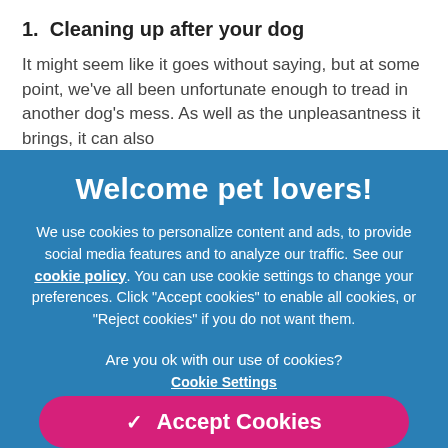1. Cleaning up after your dog
It might seem like it goes without saying, but at some point, we've all been unfortunate enough to tread in another dog's mess. As well as the unpleasantness it brings, it can also
[Figure (screenshot): Cookie consent overlay dialog with blue background. Title: 'Welcome pet lovers!' followed by cookie policy text and Accept Cookies button.]